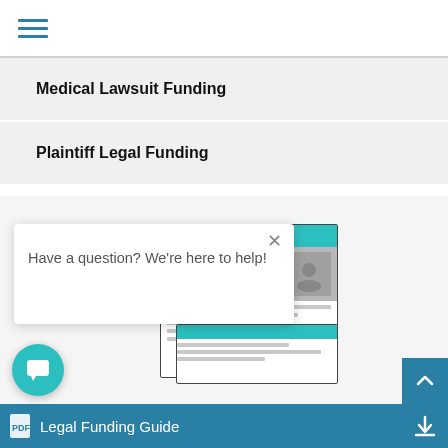[Figure (screenshot): Hamburger menu icon (three horizontal lines) in teal/blue color at top left of navigation bar]
Medical Lawsuit Funding
Plaintiff Legal Funding
[Figure (screenshot): Website screenshot showing a legal funding website with teal header, content image, and text lines, with a chat popup overlay reading 'Have a question? We're here to help!' and a teal chat button]
Have a question? We're here to help!
Legal Funding Guide